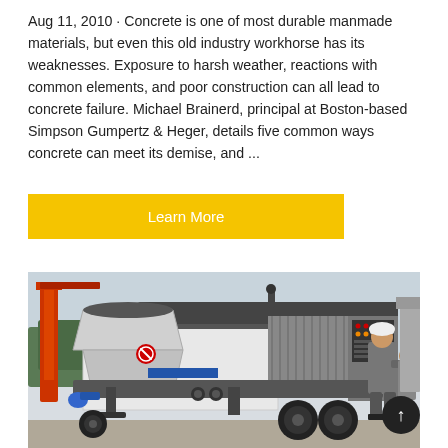Aug 11, 2010 · Concrete is one of most durable manmade materials, but even this old industry workhorse has its weaknesses. Exposure to harsh weather, reactions with common elements, and poor construction can all lead to concrete failure. Michael Brainerd, principal at Boston-based Simpson Gumpertz & Heger, details five common ways concrete can meet its demise, and ...
Learn More
[Figure (photo): A white concrete pump machine on a trailer with a large hopper on the left side and control panels on the right. A worker in grey overalls and white hard hat is standing on the right side of the machine. A red crane structure is partially visible on the left background.]